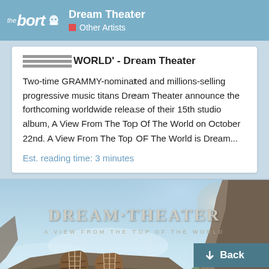the bort — Dream Theater / Other Artists
WORLD' - Dream Theater
Two-time GRAMMY-nominated and millions-selling progressive music titans Dream Theater announce the forthcoming worldwide release of their 15th studio album, A View From The Top Of The World on October 22nd. A View From The Top OF The World is Dream...
Est. reading time: 3 minutes
[Figure (illustration): Dream Theater 'A View From The Top Of The World' album art showing boots on a rocky cliff with sky and moon, text overlay reading DREAM THEATER and A VIEW FROM THE TOP OF THE WORLD]